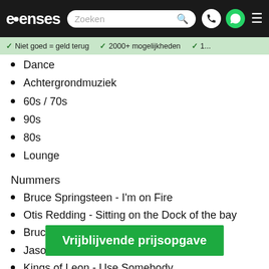evenses | Zoeken
Niet goed = geld terug | 2000+ mogelijkheden | 1...
Dance
Achtergrondmuziek
60s / 70s
90s
80s
Lounge
Nummers
Bruce Springsteen - I'm on Fire
Otis Redding - Sitting on the Dock of the bay
Bruce Springsteen - Dancing Dark
Jason Mraz - I'm Yours
Kings of Leon - Use Somebody
Niall H...
Mark Ronson ft. Amy Winehouse - Valerie
Vrijblijvende prijsopgave